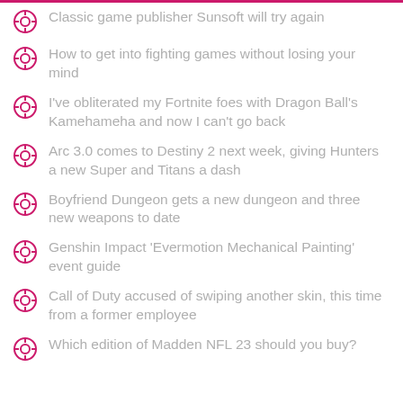Classic game publisher Sunsoft will try again
How to get into fighting games without losing your mind
I've obliterated my Fortnite foes with Dragon Ball's Kamehameha and now I can't go back
Arc 3.0 comes to Destiny 2 next week, giving Hunters a new Super and Titans a dash
Boyfriend Dungeon gets a new dungeon and three new weapons to date
Genshin Impact 'Evermotion Mechanical Painting' event guide
Call of Duty accused of swiping another skin, this time from a former employee
Which edition of Madden NFL 23 should you buy?